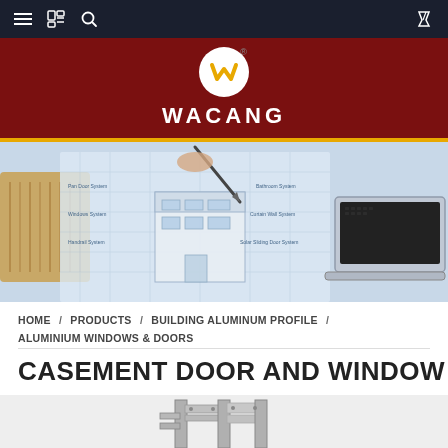Navigation bar with menu, bookmark, and search icons
[Figure (logo): WACANG logo: white circle with yellow W shape on dark red background, with WACANG brand text below]
[Figure (photo): Hero banner showing architectural drawing/blueprint with 3D building model and laptop, labeled with system types: Pan Door System, Windows System, Handrail System, Bathroom System, Curtain Wall System, Solar Sliding Door System]
HOME / PRODUCTS / BUILDING ALUMINUM PROFILE / ALUMINIUM WINDOWS & DOORS
CASEMENT DOOR AND WINDOW
[Figure (photo): Product photo showing aluminum casement door/window frame cross-section profile in grey/silver metal]